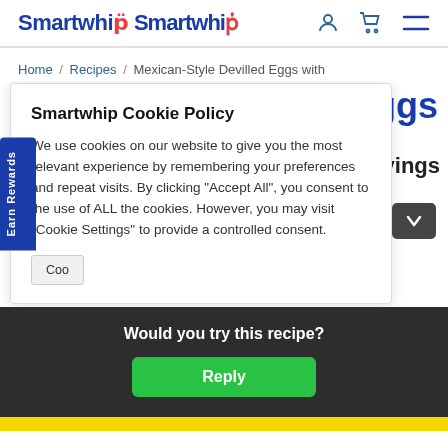Smartwhip
Home / Recipes / Mexican-Style Devilled Eggs with
Eggs
Smartwhip Cookie Policy
We use cookies on our website to give you the most relevant experience by remembering your preferences and repeat visits. By clicking “Accept All”, you consent to the use of ALL the cookies. However, you may visit “Cookie Settings” to provide a controlled consent.
4 servings
Earn Rewards
Would you try this recipe?
Reply